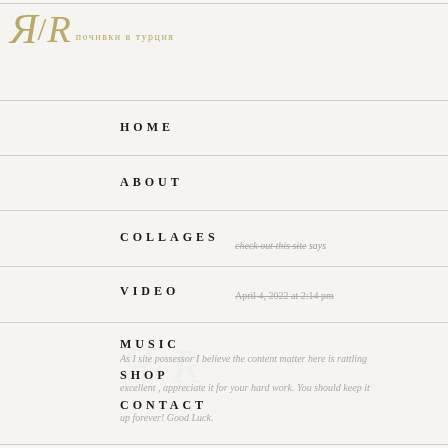[Figure (logo): Stylized Я/R logo with Cyrillic and Latin letters and subtitle 'почивки в турция' in gold]
HOME
ABOUT
COLLAGES
VIDEO
MUSIC
As I site possessor I believe the content matter here is rattling excellent , appreciate it for your hard work. You should keep it up forever! Good Luck.
SHOP
CONTACT
check out this site says
April 4, 2022 at 2:14 pm